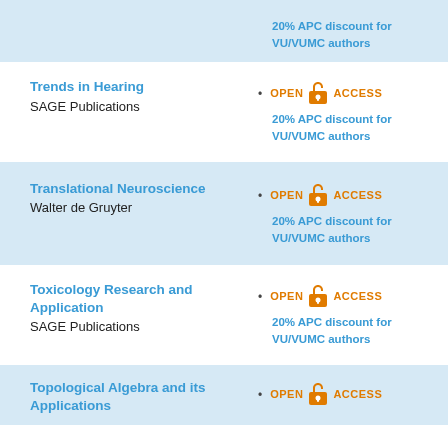20% APC discount for VU/VUMC authors
Trends in Hearing
SAGE Publications
20% APC discount for VU/VUMC authors
Translational Neuroscience
Walter de Gruyter
20% APC discount for VU/VUMC authors
Toxicology Research and Application
SAGE Publications
20% APC discount for VU/VUMC authors
Topological Algebra and its Applications